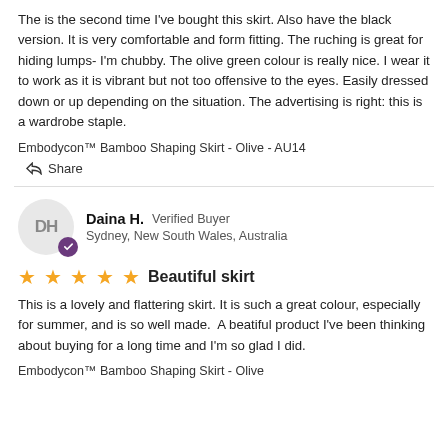The is the second time I've bought this skirt. Also have the black version. It is very comfortable and form fitting. The ruching is great for hiding lumps- I'm chubby. The olive green colour is really nice. I wear it to work as it is vibrant but not too offensive to the eyes. Easily dressed down or up depending on the situation. The advertising is right: this is a wardrobe staple.
Embodycon™ Bamboo Shaping Skirt - Olive - AU14
Share
Daina H.   Verified Buyer
Sydney, New South Wales, Australia
★★★★★  Beautiful skirt
This is a lovely and flattering skirt. It is such a great colour, especially for summer, and is so well made.  A beatiful product I've been thinking about buying for a long time and I'm so glad I did.
Embodycon™ Bamboo Shaping Skirt - Olive